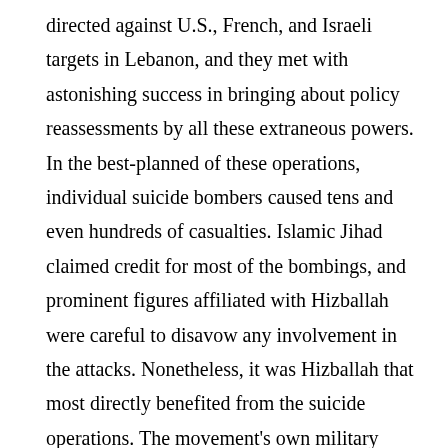directed against U.S., French, and Israeli targets in Lebanon, and they met with astonishing success in bringing about policy reassessments by all these extraneous powers. In the best-planned of these operations, individual suicide bombers caused tens and even hundreds of casualties. Islamic Jihad claimed credit for most of the bombings, and prominent figures affiliated with Hizballah were careful to disavow any involvement in the attacks. Nonetheless, it was Hizballah that most directly benefited from the suicide operations. The movement's own military capabilities were still very limited, and its militia had yet to take effective form. Yet the spectacular bombings suggested that religious fervor could compensate for small numbers, and that Hizballah commanded a kind of